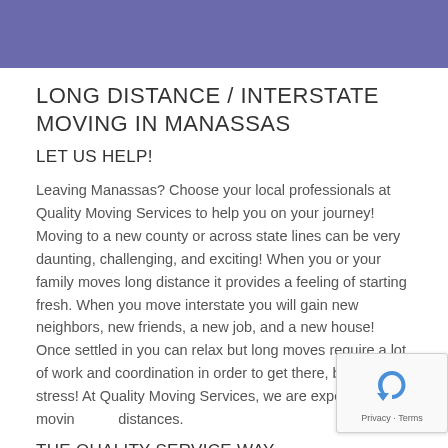LONG DISTANCE / INTERSTATE MOVING IN MANASSAS
LET US HELP!
Leaving Manassas? Choose your local professionals at Quality Moving Services to help you on your journey! Moving to a new county or across state lines can be very daunting, challenging, and exciting! When you or your family moves long distance it provides a feeling of starting fresh. When you move interstate you will gain new neighbors, new friends, a new job, and a new house! Once settled in you can relax but long moves require a lot of work and coordination in order to get there, but don't stress! At Quality Moving Services, we are experts at moving long distances.
THE QUALITY SERVICE WAY